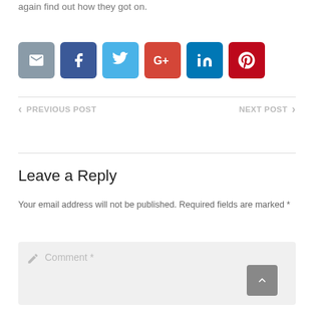again find out how they got on.
[Figure (infographic): Row of six social share buttons: email (grey), Facebook (dark blue), Twitter (light blue), Google+ (red), LinkedIn (dark teal), Pinterest (dark red)]
< PREVIOUS POST    NEXT POST >
Leave a Reply
Your email address will not be published. Required fields are marked *
Comment *